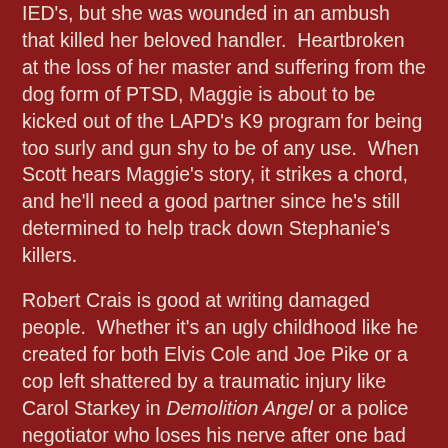IED's, but she was wounded in an ambush that killed her beloved handler.  Heartbroken at the loss of her master and suffering from the dog form of PTSD, Maggie is about to be kicked out of the LAPD's K9 program for being too surly and gun shy to be of any use.  When Scott hears Maggie's story, it strikes a chord, and he'll need a good partner since he's still determined to help track down Stephanie's killers.
Robert Crais is good at writing damaged people.  Whether it's an ugly childhood like he created for both Elvis Cole and Joe Pike or a cop left shattered by a traumatic injury like Carol Starkey in Demolition Angel or a police negotiator who loses his nerve after one bad day like in Hostage, Crais always makes you feel their pain. He includes empathy for suffering that is strangely lacking in a lot of crime fiction.
So the story of Scott and Maggie is right in his wheelhouse with the two damaged creatures forming a bond.  You can't help but like these two, and Crais is careful not to overdo it since it'd be really easy to play the injured dog card and ride it right to the best seller list.  As always, he put in the effort to give a quality crime story and not just lean on the tragic parts